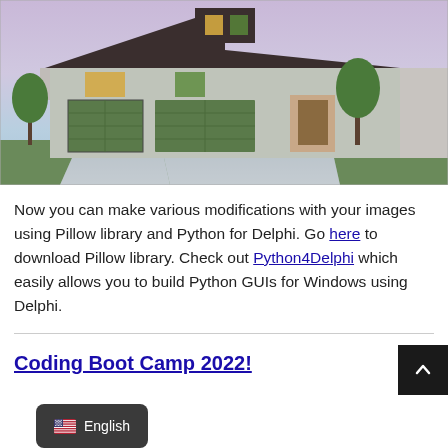[Figure (photo): Photo of a residential house with green garage doors, white trim, and a wet driveway in front, taken at dusk with purple-pink sky.]
Now you can make various modifications with your images using Pillow library and Python for Delphi. Go here to download Pillow library. Check out Python4Delphi which easily allows you to build Python GUIs for Windows using Delphi.
Coding Boot Camp 2022!